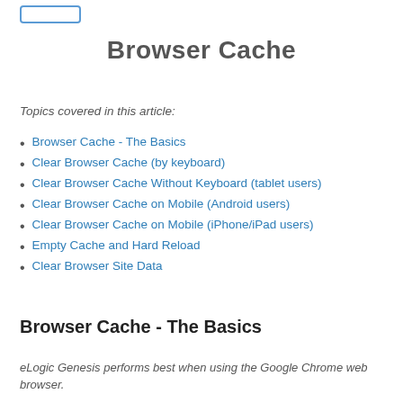[Figure (other): Small rounded rectangle button outline in blue at top left]
Browser Cache
Topics covered in this article:
Browser Cache - The Basics
Clear Browser Cache (by keyboard)
Clear Browser Cache Without Keyboard (tablet users)
Clear Browser Cache on Mobile (Android users)
Clear Browser Cache on Mobile (iPhone/iPad users)
Empty Cache and Hard Reload
Clear Browser Site Data
Browser Cache - The Basics
eLogic Genesis performs best when using the Google Chrome web browser.